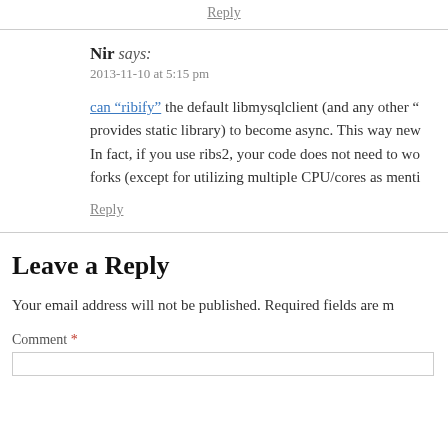Reply
Nir says:
2013-11-10 at 5:15 pm
can “ribify” the default libmysqlclient (and any other “ provides static library) to become async. This way new In fact, if you use ribs2, your code does not need to wo forks (except for utilizing multiple CPU/cores as menti
Reply
Leave a Reply
Your email address will not be published. Required fields are m
Comment *